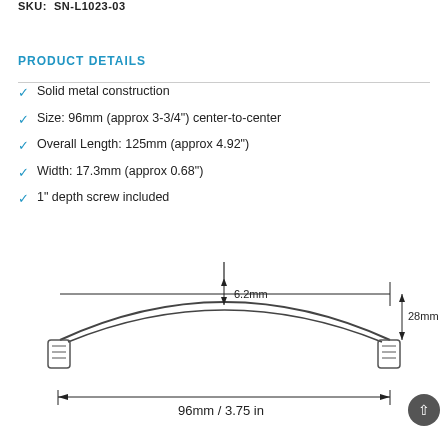SKU:  SN-L1023-03
PRODUCT DETAILS
Solid metal construction
Size: 96mm (approx 3-3/4") center-to-center
Overall Length: 125mm (approx 4.92")
Width: 17.3mm (approx 0.68")
1" depth screw included
[Figure (engineering-diagram): Technical drawing of a cabinet pull handle showing dimensions: 6.2mm depth from top, 96mm / 3.75 in center-to-center width, and 28mm side dimension. Arrows indicate measurements with screw posts visible at each end.]